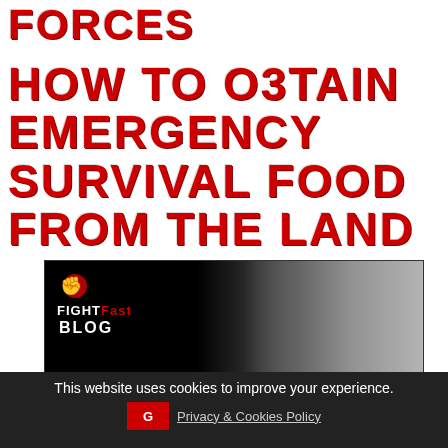FORCES
HOW TO O3TAIN EMERGENCY SURVIVAL FOOD FROM THE LAND
[Figure (photo): FightFast Blog thumbnail image showing a man in a blue shirt against a graffiti wall. Overlay text reads: HOW TO O3TAIN EMERGENCY SURVIVAL FOOD FROM THE LAND By Derek Smith]
This website uses cookies to improve your experience.
Privacy & Cookies Policy